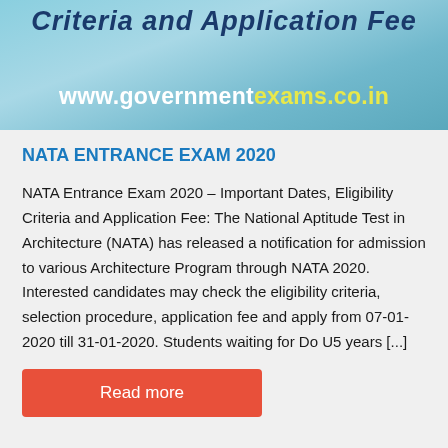[Figure (illustration): Banner image with blue/teal gradient background showing partial italic bold dark-blue text 'Criteria and Application Fee' at top, and website URL 'www.governmentexams.co.in' in white and yellow text below]
NATA ENTRANCE EXAM 2020
NATA Entrance Exam 2020 – Important Dates, Eligibility Criteria and Application Fee: The National Aptitude Test in Architecture (NATA) has released a notification for admission to various Architecture Program through NATA 2020. Interested candidates may check the eligibility criteria, selection procedure, application fee and apply from 07-01-2020 till 31-01-2020. Students waiting for Do U5 years [...]
Read more